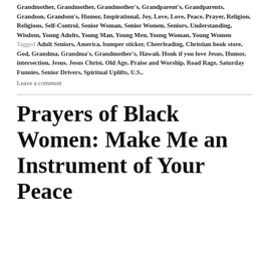Grandmother, Grandmother, Grandmother's, Grandparent's, Grandparents, Grandson, Grandson's, Humor, Inspirational, Joy, Love, Love, Peace, Prayer, Religion, Religious, Self-Control, Senior Woman, Senior Women, Seniors, Understanding, Wisdom, Young Adults, Young Man, Young Men, Young Woman, Young Women Tagged Adult Seniors, America, bumper sticker, Cheerleading, Christian book store, God, Grandma, Grandma's, Grandmother's, Hawaii, Honk if you love Jesus, Humor, intersection, Jesus, Jesus Christ, Old Age, Praise and Worship, Road Rage, Saturday Funnies, Senior Drivers, Spiritual Uplifts, U.S.. Leave a comment
Prayers of Black Women: Make Me an Instrument of Your Peace